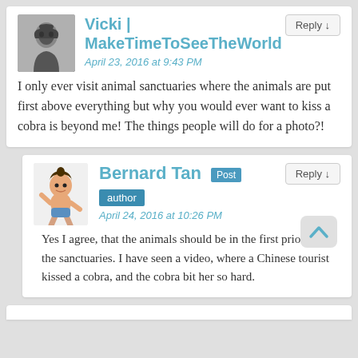Vicki | MakeTimeToSeeTheWorld
April 23, 2016 at 9:43 PM
I only ever visit animal sanctuaries where the animals are put first above everything but why you would ever want to kiss a cobra is beyond me! The things people will do for a photo?!
Bernard Tan Post author April 24, 2016 at 10:26 PM
Yes I agree, that the animals should be in the first priority in the sanctuaries. I have seen a video, where a Chinese tourist kissed a cobra, and the cobra bit her so hard.